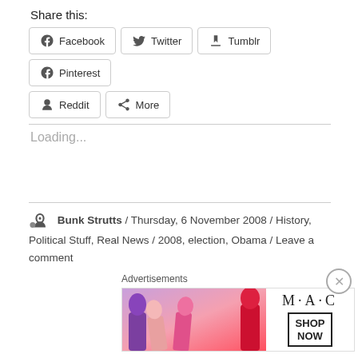Share this:
[Figure (other): Social share buttons: Facebook, Twitter, Tumblr, Pinterest, Reddit, More]
Loading...
Bunk Strutts / Thursday, 6 November 2008 / History, Political Stuff, Real News / 2008, election, Obama / Leave a comment
Advertisements
[Figure (photo): MAC cosmetics advertisement showing lipsticks with MAC logo and SHOP NOW button]